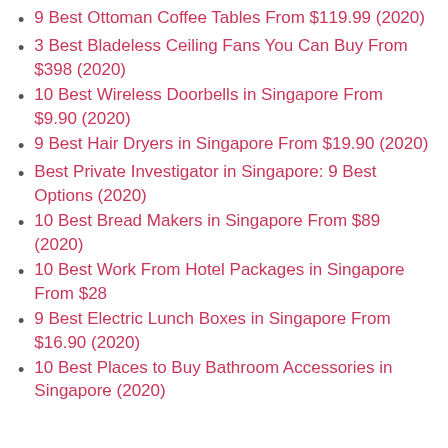9 Best Ottoman Coffee Tables From $119.99 (2020)
3 Best Bladeless Ceiling Fans You Can Buy From $398 (2020)
10 Best Wireless Doorbells in Singapore From $9.90 (2020)
9 Best Hair Dryers in Singapore From $19.90 (2020)
Best Private Investigator in Singapore: 9 Best Options (2020)
10 Best Bread Makers in Singapore From $89 (2020)
10 Best Work From Hotel Packages in Singapore From $28
9 Best Electric Lunch Boxes in Singapore From $16.90 (2020)
10 Best Places to Buy Bathroom Accessories in Singapore (2020)